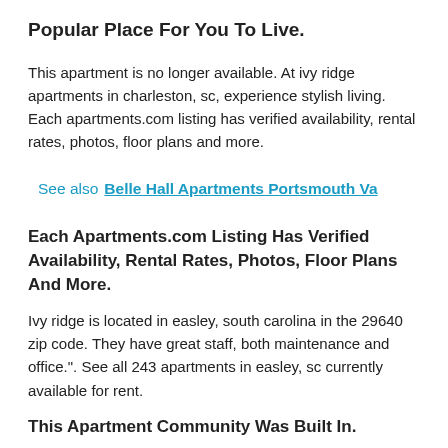Popular Place For You To Live.
This apartment is no longer available. At ivy ridge apartments in charleston, sc, experience stylish living. Each apartments.com listing has verified availability, rental rates, photos, floor plans and more.
See also  Belle Hall Apartments Portsmouth Va
Each Apartments.com Listing Has Verified Availability, Rental Rates, Photos, Floor Plans And More.
Ivy ridge is located in easley, south carolina in the 29640 zip code. They have great staff, both maintenance and office.". See all 243 apartments in easley, sc currently available for rent.
This Apartment Community Was Built In.